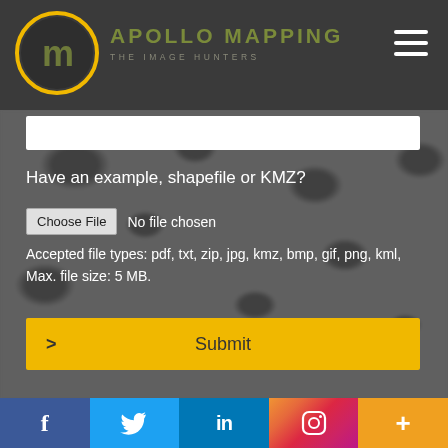[Figure (logo): Apollo Mapping logo with circular 'am' icon in gold/green and text 'APOLLO MAPPING THE IMAGE HUNTERS']
Have an example, shapefile or KMZ?
Choose File  No file chosen
Accepted file types: pdf, txt, zip, jpg, kmz, bmp, gif, png, kml, Max. file size: 5 MB.
> Submit
[Figure (infographic): Social media footer bar with Facebook, Twitter, LinkedIn, Instagram, and More (+) icons]